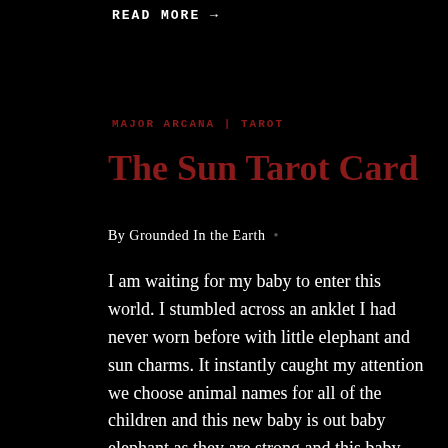READ MORE →
MAJOR ARCANA | TAROT
The Sun Tarot Card
By Grounded In the Earth •
I am waiting for my baby to enter this world. I stumbled across an anklet I had never worn before with little elephant and sun charms. It instantly caught my attention we choose animal names for all of the children and this new baby is out baby elephant as they are strong and this baby...